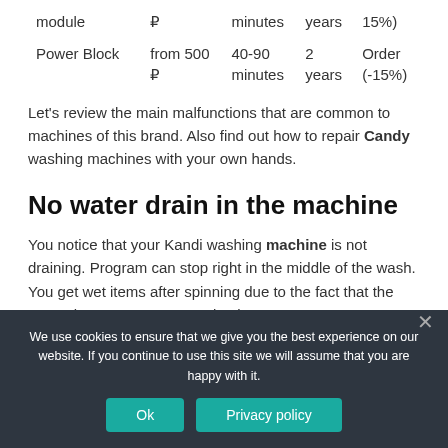|  | Price | Repair Time | Warranty |  |
| --- | --- | --- | --- | --- |
| module | ₽ | minutes | years | 15%) |
| Power Block | from 500 ₽ | 40-90 minutes | 2 years | Order (-15%) |
Let's review the main malfunctions that are common to machines of this brand. Also find out how to repair Candy washing machines with your own hands.
No water drain in the machine
You notice that your Kandi washing machine is not draining. Program can stop right in the middle of the wash. You get wet items after spinning due to the fact that the water does not go out completely.
We use cookies to ensure that we give you the best experience on our website. If you continue to use this site we will assume that you are happy with it.